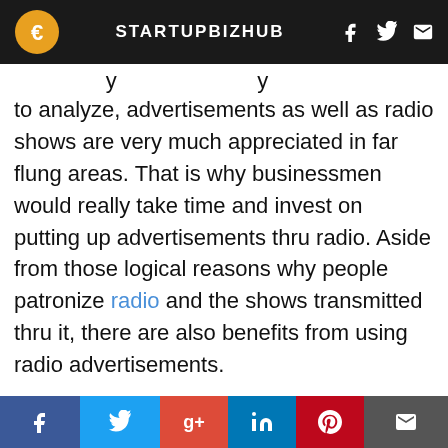STARTUPBIZHUB
to analyze, advertisements as well as radio shows are very much appreciated in far flung areas. That is why businessmen would really take time and invest on putting up advertisements thru radio. Aside from those logical reasons why people patronize radio and the shows transmitted thru it, there are also benefits from using radio advertisements.

Many people are tuned in the radio through different stations. Their reasons may vary from getting updated of the traffic news to listening to their favorite music. As you may observe, in the middle of liste… are also